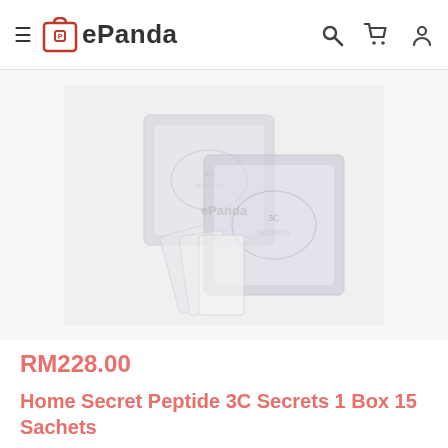ePanda
[Figure (photo): Product photo showing Home Secret Peptide 3C Secrets boxes and sachets on a white/light grey background with ePanda watermark]
RM228.00
Home Secret Peptide 3C Secrets 1 Box 15 Sachets